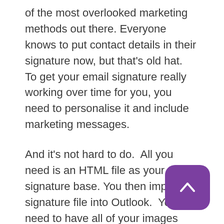of the most overlooked marketing methods out there. Everyone knows to put contact details in their signature now, but that's old hat.  To get your email signature really working over time for you, you need to personalise it and include marketing messages.
And it's not hard to do.  All you need is an HTML file as your signature base. You then import the signature file into Outlook.  You just need to have all of your images online
(we recommend having an email direct on your website for this purpose).
[Figure (other): Purple rounded square button with a white upward-pointing chevron arrow (back to top button)]